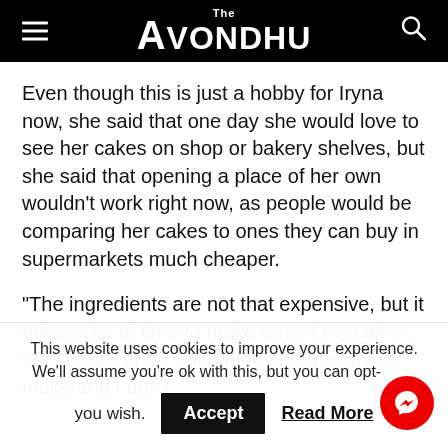The Avondhu
Even though this is just a hobby for Iryna now, she said that one day she would love to see her cakes on shop or bakery shelves, but she said that opening a place of her own wouldn't work right now, as people would be comparing her cakes to ones they can buy in supermarkets much cheaper.
"The ingredients are not that expensive, but it takes a lot of time to make one of my cakes, the Wizard of Oz cake took about a day to make and I don't
This website uses cookies to improve your experience. We'll assume you're ok with this, but you can opt-out if you wish.
Accept
Read More